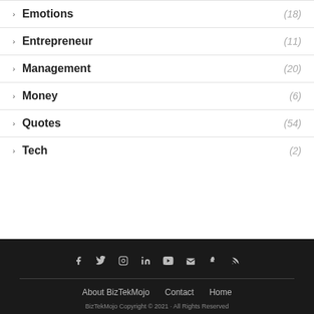Emotions (18)
Entrepreneur (11)
Management (20)
Money (6)
Quotes (54)
Tech (2)
About BizTekMojo  Contact  Home